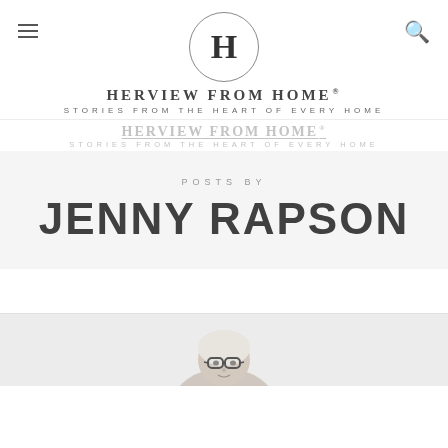Her View From Home - Stories From The Heart Of Every Home
[Figure (logo): Her View From Home logo with H in circle and brand name and tagline. Includes a partially overlapping duplicate of the logo below.]
POSTS BY
JENNY RAPSON
[Figure (photo): Partial photo of a person (Jenny Rapson) visible at the bottom of the page, showing head and shoulders, wearing glasses.]